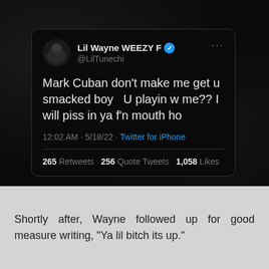[Figure (screenshot): Screenshot of a tweet by Lil Wayne WEEZY F (@LilTunechi) on a dark background. Tweet text: 'Mark Cuban don't make me get u smacked boy   U playin w me?? I will piss in ya f'n mouth ho'. Posted at 12:02 AM · 5/18/22 · Twitter for iPhone. Stats: 265 Retweets, 256 Quote Tweets, 1,058 Likes.]
Shortly after, Wayne followed up for good measure writing, "Ya lil bitch its up."